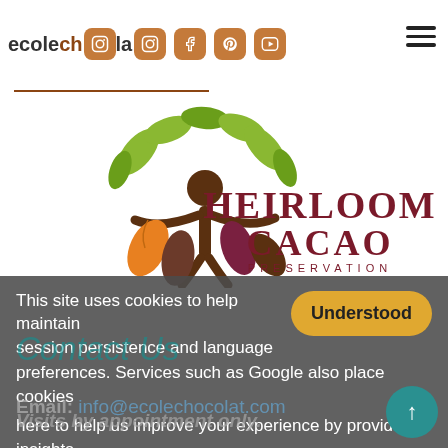ecolechocolat [social icons: instagram, facebook, pinterest, youtube] [hamburger menu]
[Figure (logo): Heirloom Cacao Preservation logo: stylized tree with green leaves and colorful cacao pods, human figure as trunk, text HEIRLOOM CACAO PRESERVATION in dark red/maroon below]
This site uses cookies to help maintain session persistence and language preferences. Services such as Google also place cookies here to help us improve your experience by providing insights into how the site is being used. Visit our Privacy Policy page to learn more about the cookies found on this site.
Understood
Contact Us
Email: info@ecolechocolat.com
Visits by appointment only.